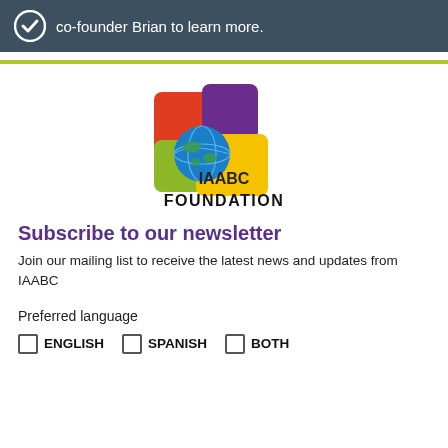co-founder Brian to learn more.
[Figure (logo): IAABC Foundation logo with colorful overlapping squares (red, purple, yellow, green) and a globe icon, with text IAABC FOUNDATION below]
Subscribe to our newsletter
Join our mailing list to receive the latest news and updates from IAABC
Preferred language
ENGLISH   SPANISH   BOTH